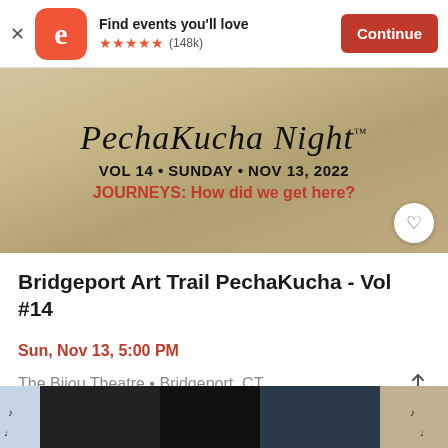Find events you'll love ★★★★★ (148k) Continue
[Figure (photo): PechaKucha Night event poster with beige/tan background showing 'PechaKucha Night' in cursive, 'VOL 14 • SUNDAY • NOV 13, 2022' in bold black, and 'JOURNEYS: How did we get here?' in red bold text]
Bridgeport Art Trail PechaKucha - Vol #14
Sun, Nov 13, 5:00 PM
The Bijou Theatre • Bridgeport, CT
[Figure (photo): Bottom partial image showing two people (a woman and a man) with musical note graphics overlay on a gray background]